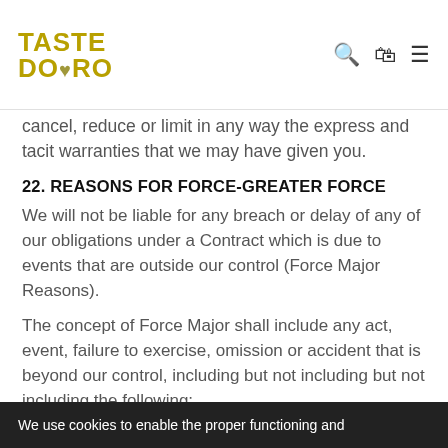TASTE DOURO
cancel, reduce or limit in any way the express and tacit warranties that we may have given you.
22. REASONS FOR FORCE-GREATER FORCE
We will not be liable for any breach or delay of any of our obligations under a Contract which is due to events that are outside our control (Force Major Reasons).
The concept of Force Major shall include any act, event, failure to exercise, omission or accident that is beyond our control, including but not including but not including the following:
We use cookies to enable the proper functioning and